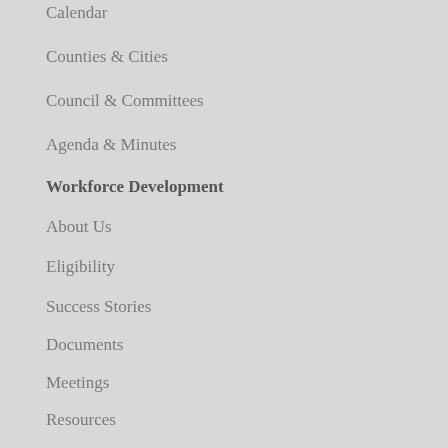Calendar
Counties & Cities
Council & Committees
Agenda & Minutes
Workforce Development
About Us
Eligibility
Success Stories
Documents
Meetings
Resources
Performance
Aging
Getting Started
About us